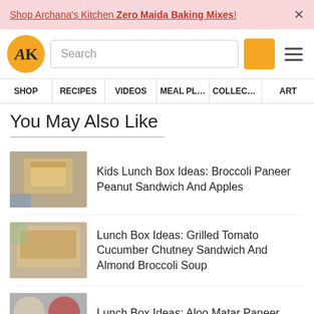Shop Archana's Kitchen Zero Maida Baking Mixes! ×
[Figure (screenshot): Archana's Kitchen logo — round orange circle with AK initials in serif font]
Search
SHOP  RECIPES  VIDEOS  MEAL PLANS  COLLECTIONS  ART
You May Also Like
[Figure (photo): Hand holding a grilled sandwich in a lunch box with butter]
Kids Lunch Box Ideas: Broccoli Paneer Peanut Sandwich And Apples
[Figure (photo): Grilled sandwich in a lunch box with chutney]
Lunch Box Ideas: Grilled Tomato Cucumber Chutney Sandwich And Almond Broccoli Soup
[Figure (photo): Indian lunch box with curry, phulka and salad]
Lunch Box Ideas: Aloo Matar Paneer Curry, Phulka And Salad